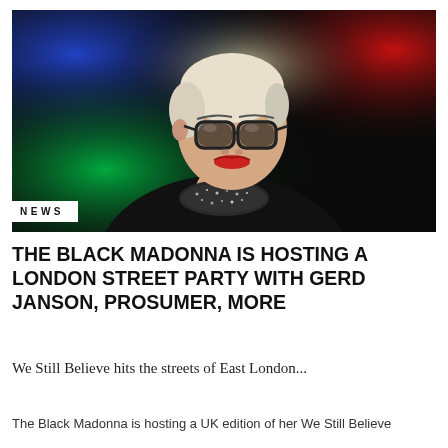[Figure (photo): Portrait photo of a woman with short bleached hair, bold black-framed glasses, and red lipstick, wearing a dark glittery top/necklace. Background features vivid blue, green, and red colored lights creating a rainbow effect.]
NEWS
THE BLACK MADONNA IS HOSTING A LONDON STREET PARTY WITH GERD JANSON, PROSUMER, MORE
We Still Believe hits the streets of East London...
The Black Madonna is hosting a UK edition of her We Still Believe